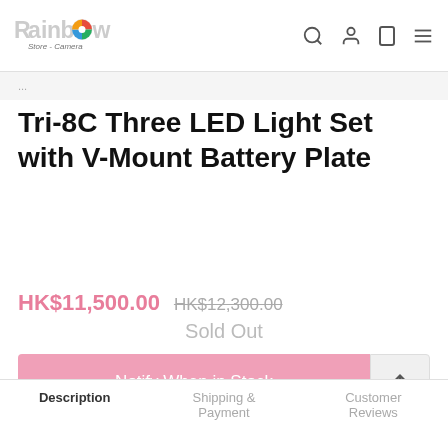Rainbow Store - Camera
Tri-8C Three LED Light Set with V-Mount Battery Plate
HK$11,500.00  HK$12,300.00
Sold Out
Notify When in Stock
♡ Add to Wishlist
Description | Shipping & Payment | Customer Reviews